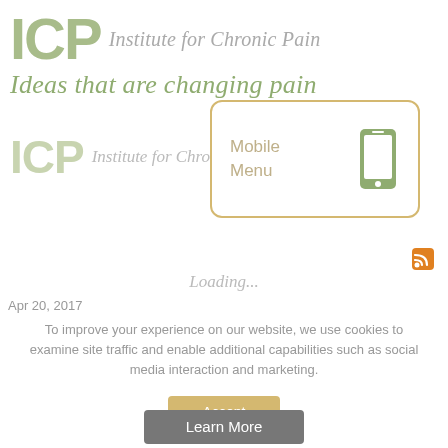[Figure (logo): ICP Institute for Chronic Pain logo with large green ICP text and grey italic subtitle]
Ideas that are changing pain
[Figure (screenshot): Mobile Menu popup box with phone icon and golden border over a second smaller ICP logo]
Loading...
Apr 20, 2017
To improve your experience on our website, we use cookies to examine site traffic and enable additional capabilities such as social media interaction and marketing.
Accept
Learn More